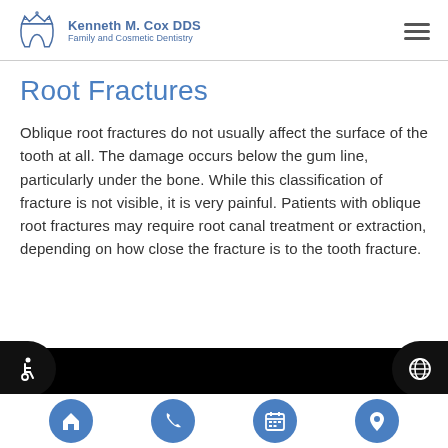Kenneth M. Cox DDS Family and Cosmetic Dentistry
Root Fractures
Oblique root fractures do not usually affect the surface of the tooth at all. The damage occurs below the gum line, particularly under the bone. While this classification of fracture is not visible, it is very painful. Patients with oblique root fractures may require root canal treatment or extraction, depending on how close the fracture is to the tooth fracture.